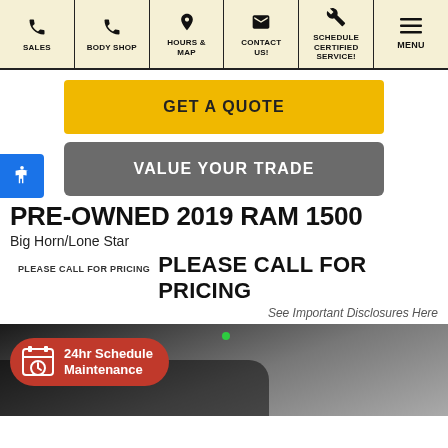SALES | BODY SHOP | HOURS & MAP | CONTACT US! | SCHEDULE CERTIFIED SERVICE! | MENU
GET A QUOTE
VALUE YOUR TRADE
PRE-OWNED 2019 RAM 1500
Big Horn/Lone Star
PLEASE CALL FOR PRICING  PLEASE CALL FOR PRICING
See Important Disclosures Here
[Figure (photo): Car interior dashboard view with a 24hr Schedule Maintenance pill button overlay in red]
24hr Schedule Maintenance